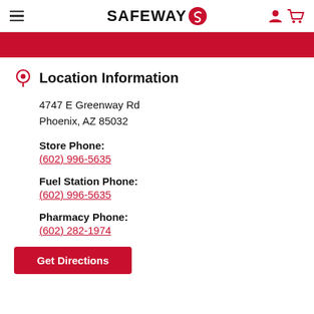SAFEWAY
Location Information
4747 E Greenway Rd
Phoenix, AZ 85032
Store Phone:
(602) 996-5635
Fuel Station Phone:
(602) 996-5635
Pharmacy Phone:
(602) 282-1974
Get Directions